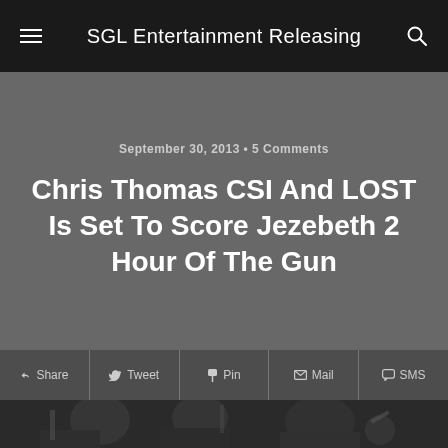SGL Entertainment Releasing
September 30, 2013 • 5 Comments
Chris Thomas CSI And LOST Is Set To Score Jezebeth 2 Hour Of The Gun
f Share   Tweet   Pin   Mail   SMS
[Figure (photo): Orchestra musicians from behind, appears to be a recording session with musicians holding instruments and sheet music visible]